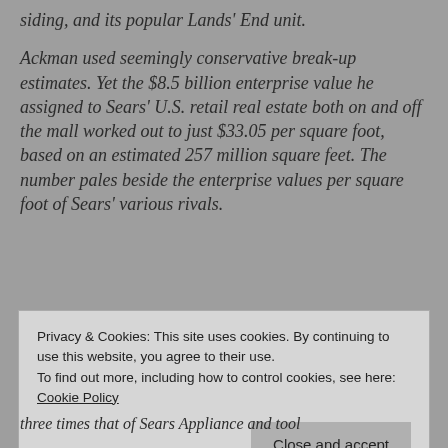siding, and its popular Lands' End unit.
Ackman used seemingly conservative break-up estimates. Yet the $8.5 billion enterprise value he assigned to Sears' U.S. retail real estate both on and off the mall worked out to just $33.05 per square foot, based on an estimated 257 million square feet. The number pales beside the enterprise values per square foot of Sears' various rivals.
Privacy & Cookies: This site uses cookies. By continuing to use this website, you agree to their use.
To find out more, including how to control cookies, see here: Cookie Policy
three times that of Sears Appliance and tool